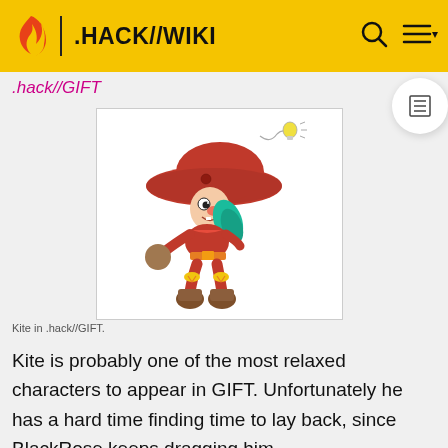.HACK//WIKI
.hack//GIFT
[Figure (illustration): Chibi cartoon illustration of Kite from .hack//GIFT — a small character with a large red mushroom-like hat, red outfit, teal wing-like accessory, holding a brown ball/mace, with a lightbulb floating above connected by a wavy line.]
Kite in .hack//GIFT.
Kite is probably one of the most relaxed characters to appear in GIFT. Unfortunately he has a hard time finding time to lay back, since BlackRose keeps dragging him